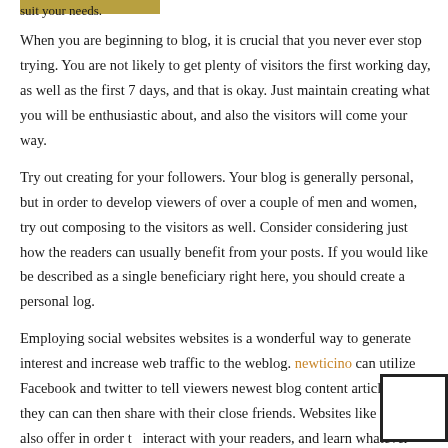suit your needs.
When you are beginning to blog, it is crucial that you never ever stop trying. You are not likely to get plenty of visitors the first working day, as well as the first 7 days, and that is okay. Just maintain creating what you will be enthusiastic about, and also the visitors will come your way.
Try out creating for your followers. Your blog is generally personal, but in order to develop viewers of over a couple of men and women, try out composing to the visitors as well. Consider considering just how the readers can usually benefit from your posts. If you would like be described as a single beneficiary right here, you should create a personal log.
Employing social websites websites is a wonderful way to generate interest and increase web traffic to the weblog. newticino can utilize Facebook and twitter to tell viewers newest blog content articles that they can can then share with their close friends. Websites like these also offer in order to interact with your readers, and learn whatever they are interested in. T